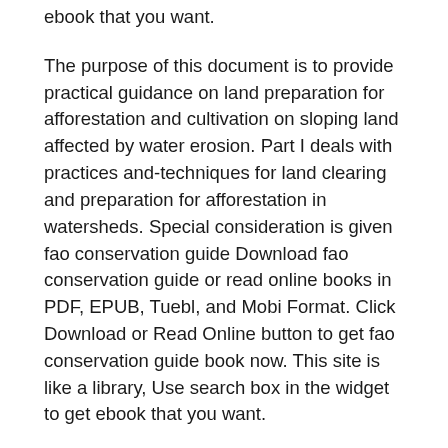ebook that you want.
The purpose of this document is to provide practical guidance on land preparation for afforestation and cultivation on sloping land affected by water erosion. Part I deals with practices and-techniques for land clearing and preparation for afforestation in watersheds. Special consideration is given fao conservation guide Download fao conservation guide or read online books in PDF, EPUB, Tuebl, and Mobi Format. Click Download or Read Online button to get fao conservation guide book now. This site is like a library, Use search box in the widget to get ebook that you want.
Manual On Watershed Management Top results